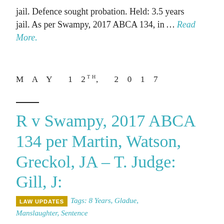jail. Defence sought probation. Held: 3.5 years jail. As per Swampy, 2017 ABCA 134, in … Read More.
MAY 12TH, 2017
R v Swampy, 2017 ABCA 134 per Martin, Watson, Greckol, JA – T. Judge: Gill, J:
LAW UPDATES  Tags: 8 Years, Gladue, Manslaughter, Sentence